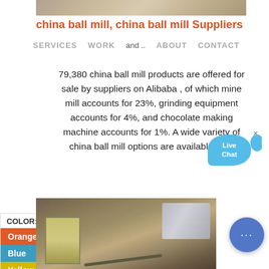[Figure (photo): Top partial photo of industrial/mining equipment, partially visible at top of page]
china ball mill, china ball mill Suppliers
SERVICES   WORK and ..   ABOUT   CONTACT
79,380 china ball mill products are offered for sale by suppliers on Alibaba , of which mine mill accounts for 23%, grinding equipment accounts for 4%, and chocolate making machine accounts for 1%. A wide variety of china ball mill options are available to ...
[Figure (other): Live Chat button bubble in blue]
COLOR:
Orange
Blue
Yellow
[Figure (photo): Bottom photo of industrial machinery/conveyor equipment in warehouse setting]
[Figure (other): Blue chat circle button with dots at bottom right]